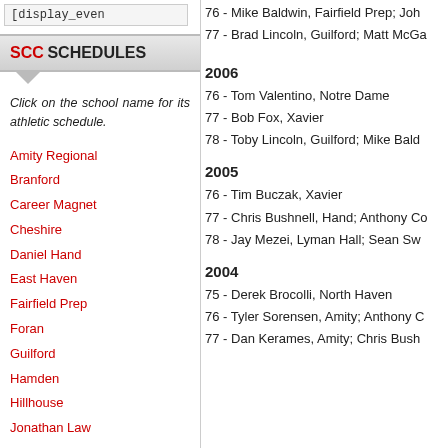[display_even
76 - Mike Baldwin, Fairfield Prep; Joh
77 - Brad Lincoln, Guilford; Matt McGa
SCC SCHEDULES
Click on the school name for its athletic schedule.
Amity Regional
Branford
Career Magnet
Cheshire
Daniel Hand
East Haven
Fairfield Prep
Foran
Guilford
Hamden
Hillhouse
Jonathan Law
Lauralton Hall
Lyman Hall
Mercy
North Haven
Notre Dame
Sacred Heart Academy
Sheehan
2006
76 - Tom Valentino, Notre Dame
77 - Bob Fox, Xavier
78 - Toby Lincoln, Guilford; Mike Bald
2005
76 - Tim Buczak, Xavier
77 - Chris Bushnell, Hand; Anthony Co
78 - Jay Mezei, Lyman Hall; Sean Sw
2004
75 - Derek Brocolli, North Haven
76 - Tyler Sorensen, Amity; Anthony C
77 - Dan Kerames, Amity; Chris Bush